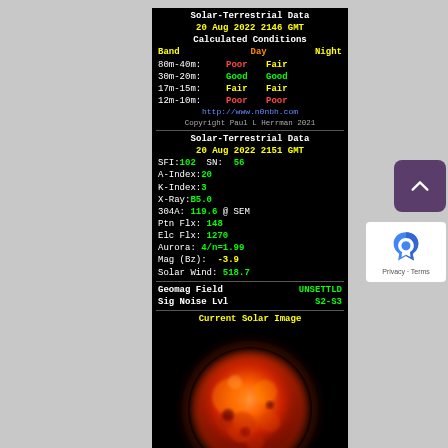Solar-Terrestrial Data
20 Aug 2022 2146 GMT
Calculated Conditions
| Band | Day | Night |
| --- | --- | --- |
| 80m-40m: | Poor | Fair |
| 30m-20m: | Good | Good |
| 17m-15m: | Fair | Fair |
| 12m-10m: | Poor | Poor |
http://www.n0nbh.com
Copyright Paul L Herrman 2021
Solar-Terrestrial Data
20 Aug 2022 2151 GMT
SFI:102  SN:  56
A-Index:20
K-Index:3
X-Ray:B5.0
304A: 119.6 @ SEM
Ptn Flx: 148
Elc Flx: 1270
Aurora: 4/n=1.99
Mag (Bz):  -3.9
Solar Wind: 518.7
Geomag Field UNSETTLD
Sig Noise Lvl    S2-S3
Current Solar Image
[Figure (photo): Current solar image showing the sun in red/infrared wavelength, glowing orange-red sphere against black background]